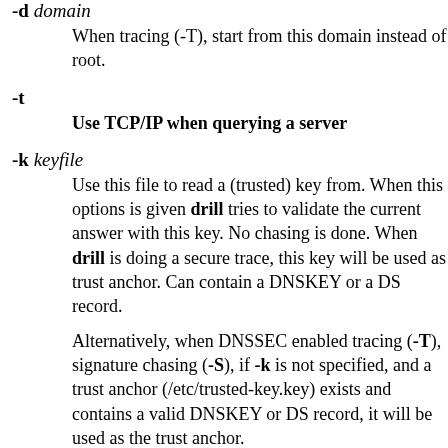-d domain
    When tracing (-T), start from this domain instead of root.
-t
    Use TCP/IP when querying a server
-k keyfile
    Use this file to read a (trusted) key from. When this options is given drill tries to validate the current answer with this key. No chasing is done. When drill is doing a secure trace, this key will be used as trust anchor. Can contain a DNSKEY or a DS record.

    Alternatively, when DNSSEC enabled tracing (-T), signature chasing (-S), if -k is not specified, and a trust anchor (/etc/trusted-key.key) exists and contains a valid DNSKEY or DS record, it will be used as the trust anchor.
-o mnemonic
    Use this option to set or unspecified and it...